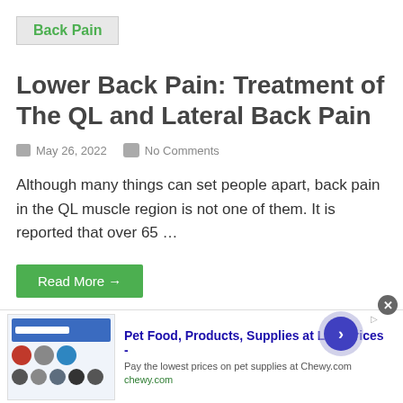Back Pain
Lower Back Pain: Treatment of The QL and Lateral Back Pain
May 26, 2022   No Comments
Although many things can set people apart, back pain in the QL muscle region is not one of them. It is reported that over 65 …
Read More →
[Figure (photo): Partial view of a person's lower back/torso area, cropped at bottom of page]
5 Great
[Figure (screenshot): Advertisement banner for Chewy.com pet food and supplies showing product images]
Pet Food, Products, Supplies at Low Prices -
Pay the lowest prices on pet supplies at Chewy.com
chewy.com